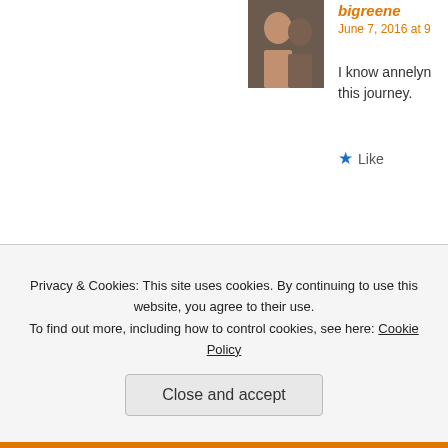[Figure (photo): Avatar photo of bigreene — couple hugging, man and woman]
bigreene
June 7, 2016 at 9
I know annelyn this journey.
★ Like
Advertisements
[Figure (photo): Avatar photo of annelynn — woman smiling with child]
annelynn
June 7, 2016 at 10:38 pm
Thank you. Truly.
Privacy & Cookies: This site uses cookies. By continuing to use this website, you agree to their use.
To find out more, including how to control cookies, see here: Cookie Policy
Close and accept